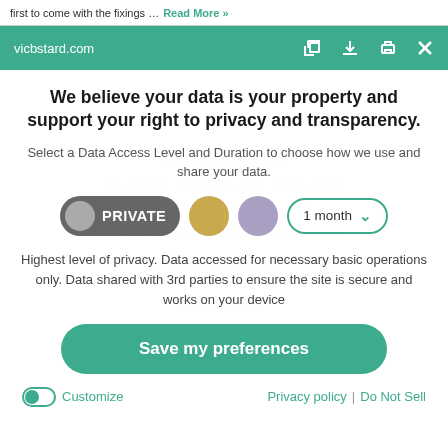first to come with the fixings … Read More »
vicbstard.com
We believe your data is your property and support your right to privacy and transparency.
Select a Data Access Level and Duration to choose how we use and share your data.
PRIVATE | 1 month
Highest level of privacy. Data accessed for necessary basic operations only. Data shared with 3rd parties to ensure the site is secure and works on your device
Save my preferences
Customize | Privacy policy | Do Not Sell